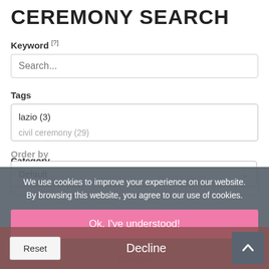CEREMONY SEARCH
Keyword [?]
Search...
Tags
lazio (3)
civil ceremony (29)
Category
Select Category
Order by
Default
We use cookies to improve your experience on our website. By browsing this website, you agree to our use of cookies.
Ok, I've understood!
Reset
Decline
Cancel